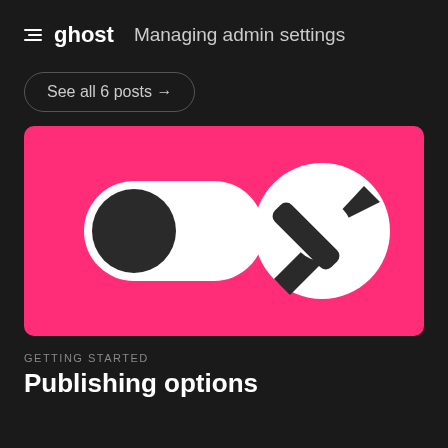≡ ghost   Managing admin settings
See all 6 posts →
[Figure (illustration): Pink/magenta background with two icons: a toggle switch (off position, white pill with dark circle on left) and a settings/edit icon (white circle with dark diagonal slash/pencil).]
GETTING STARTED
Publishing options